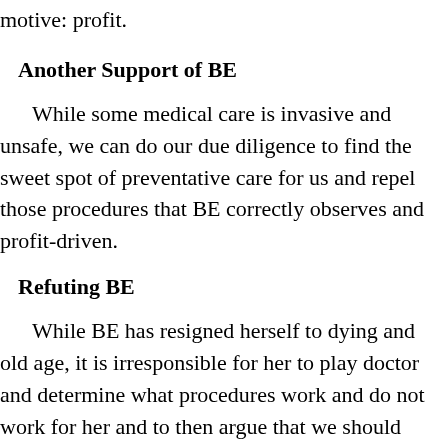motive: profit.
Another Support of BE
While some medical care is invasive and unsafe, we can do our due diligence to find the sweet spot of preventative care for us and repel those procedures that BE correctly observes and profit-driven.
Refuting BE
While BE has resigned herself to dying and old age, it is irresponsible for her to play doctor and determine what procedures work and do not work for her and to then argue that we should follow her reckless behavior.